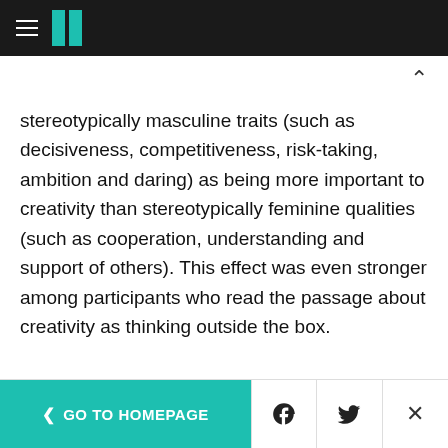HuffPost navigation header with hamburger menu and logo
stereotypically masculine traits (such as decisiveness, competitiveness, risk-taking, ambition and daring) as being more important to creativity than stereotypically feminine qualities (such as cooperation, understanding and support of others). This effect was even stronger among participants who read the passage about creativity as thinking outside the box.
In the second experiment, 169 volunteers were
< GO TO HOMEPAGE | Facebook share | Twitter share | Close